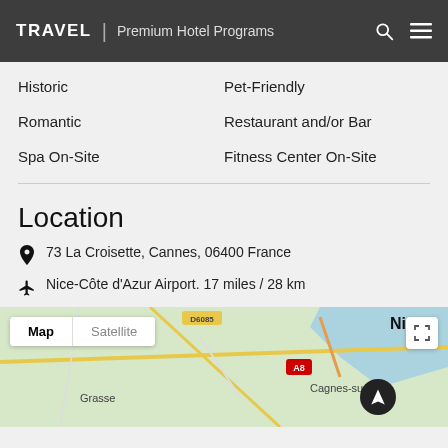TRAVEL | Premium Hotel Programs
Historic
Pet-Friendly
Romantic
Restaurant and/or Bar
Spa On-Site
Fitness Center On-Site
Location
73 La Croisette, Cannes, 06400 France
Nice-Côte d'Azur Airport. 17 miles / 28 km
[Figure (map): Google Map showing Cannes area with Map/Satellite toggle, showing Grasse, Cagnes-sur-Mer, Nice, road D6085, highway A8]